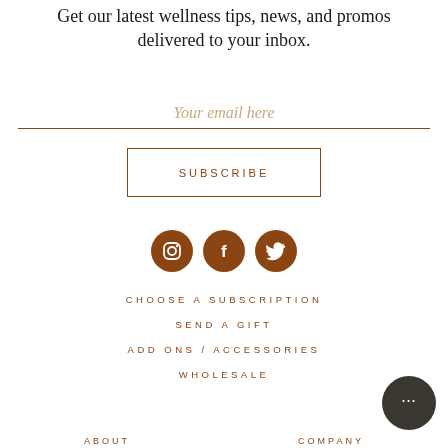Get our latest wellness tips, news, and promos delivered to your inbox.
Your email here
SUBSCRIBE
[Figure (infographic): Three social media icons (Instagram, Facebook, Twitter) as white icons on dark brown circles]
CHOOSE A SUBSCRIPTION
SEND A GIFT
ADD ONS / ACCESSORIES
WHOLESALE
ABOUT
COMPANY